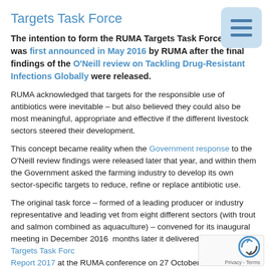Targets Task Force
The intention to form the RUMA Targets Task Force was first announced in May 2016 by RUMA after the final findings of the O'Neill review on Tackling Drug-Resistant Infections Globally were released.
RUMA acknowledged that targets for the responsible use of antibiotics were inevitable – but also believed they could also be most meaningful, appropriate and effective if the different livestock sectors steered their development.
This concept became reality when the Government response to the O'Neill review findings were released later that year, and within them the Government asked the farming industry to develop its own sector-specific targets to reduce, refine or replace antibiotic use.
The original task force – formed of a leading producer or industry representative and leading vet from eight different sectors (with trout and salmon combined as aquaculture) – convened for its inaugural meeting in December 2016, months later it delivered the RUMA Targets Task Force Report 2017 at the RUMA conference on 27 October. Since then, the different livestock sectors have been